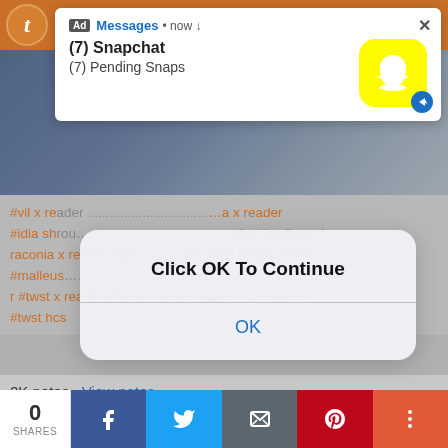[Figure (screenshot): Snapchat ad notification popup showing Messages header, (7) Snapchat and (7) Pending Snaps text with Snapchat yellow icon]
#vil x reader #idia shroud x reader #malleus x reader #draconia x reader #idia x reader #malleus draconia x reader #idia headcanons #malleus headcanons #malleusxreader #twst x reader #twisted wonderland headcanons #twst hcs
2K notes · View notes
[Figure (screenshot): Click OK To Continue iOS-style dialog with OK button]
0 SHARES share buttons: Facebook, Twitter, Email, Pinterest, More